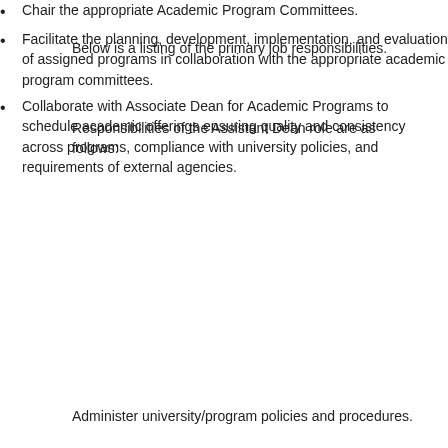Below is a listing of the primary job responsibilities.
Responsibilities of the Assistant Dean role are as follows:
Chair the appropriate Academic Program Committees.
Facilitate the planning, development, implementation, and evaluation of assigned programs in collaboration with the appropriate academic program committees.
Collaborate with Associate Dean for Academic Programs to schedule academic offerings ensuring quality and consistency across programs, compliance with university policies, and requirements of external agencies.
Administer university/program policies and procedures.